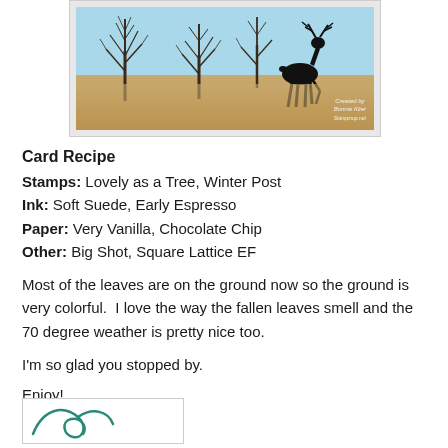[Figure (illustration): A stamped card image showing a winter scene with bare trees and a deer silhouette against a blue sky and golden-brown ground. Watermark reads 'Created by Bonnie Klier'.]
Card Recipe
Stamps:  Lovely as a Tree, Winter Post
Ink:  Soft Suede, Early Espresso
Paper:  Very Vanilla, Chocolate Chip
Other:  Big Shot, Square Lattice EF
Most of the leaves are on the ground now so the ground is very colorful.  I love the way the fallen leaves smell and the 70 degree weather is pretty nice too.
I'm so glad you stopped by.
Enjoy!
[Figure (illustration): Partial view of a handwritten signature or decorative swirl at the bottom of the page.]